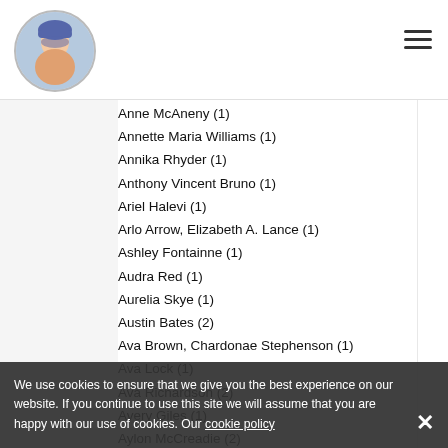Website header with logo and hamburger menu
Anne McAneny  (1)
Annette Maria Williams  (1)
Annika Rhyder  (1)
Anthony Vincent Bruno  (1)
Ariel Halevi  (1)
Arlo Arrow, Elizabeth A. Lance  (1)
Ashley Fontainne  (1)
Audra Red  (1)
Aurelia Skye  (1)
Austin Bates  (2)
Ava Brown, Chardonae Stephenson  (1)
Ava Lock  (1)
Ava Richardson  (2)
Avery Giles  (1)
Aylon McCreadie  (2)
B Pheasant  (1)
B. Austin  (1)
B.A. Erickson  (1)
Barbara Barnes Sims  (1)
Barbara Eberhard  (1)
Barbara Fox  (1)
We use cookies to ensure that we give you the best experience on our website. If you continue to use this site we will assume that you are happy with our use of cookies. Our cookie policy